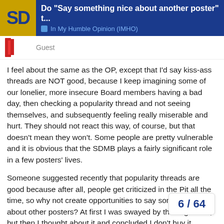Do "Say something nice about another poster" t... | In My Humble Opinion (IMHO)
Guest
I feel about the same as the OP, except that I'd say kiss-ass threads are NOT good, because I keep imagining some of our lonelier, more insecure Board members having a bad day, then checking a popularity thread and not seeing themselves, and subsequently feeling really miserable and hurt. They should not react this way, of course, but that doesn't mean they won't. Some people are pretty vulnerable and it is obvious that the SDMB plays a fairly significant role in a few posters' lives.
Someone suggested recently that popularity threads are good because after all, people get criticized in the Pit all the time, so why not create opportunities to say something nice about other posters? At first I was swayed by this argument, but then I thought about it and concluded I don't buy it. People don't get pitted unless they posted in a particularly obnoxious manner (and if the pitter is wrong, other people will support the pittee). So only deserving people are s...
6 / 64